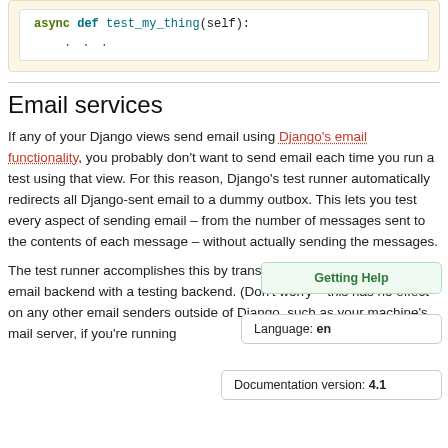async def test_my_thing(self):
    ...
Email services
If any of your Django views send email using Django's email functionality, you probably don't want to send email each time you run a test using that view. For this reason, Django's test runner automatically redirects all Django-sent email to a dummy outbox. This lets you test every aspect of sending email – from the number of messages sent to the contents of each message – without actually sending the messages.
The test runner accomplishes this by transparently replacing the normal email backend with a testing backend. (Don't worry – this has no effect on any other email senders outside of Django, such as your machine's mail server, if you're running
Getting Help
Language: en
Documentation version: 4.1